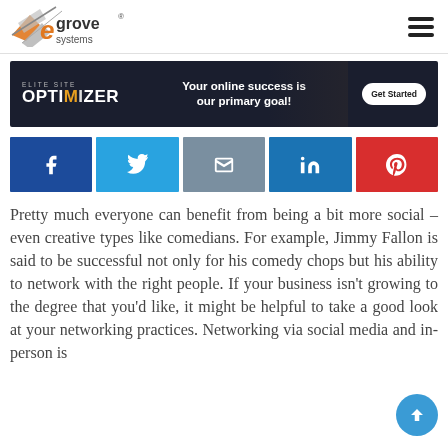[Figure (logo): eGrove Systems logo with stylized 'e' mark in orange and gray]
[Figure (infographic): Elite Site Optimizer ad banner: 'Your online success is our primary goal!' with Get Started button on dark background]
[Figure (infographic): Social share buttons: Facebook, Twitter, Email, LinkedIn, Pinterest]
Pretty much everyone can benefit from being a bit more social – even creative types like comedians. For example, Jimmy Fallon is said to be successful not only for his comedy chops but his ability to network with the right people. If your business isn't growing to the degree that you'd like, it might be helpful to take a good look at your networking practices. Networking via social media and in-person is